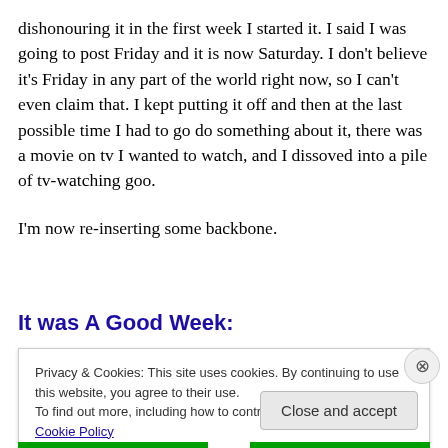dishonouring it in the first week I started it. I said I was going to post Friday and it is now Saturday. I don't believe it's Friday in any part of the world right now, so I can't even claim that. I kept putting it off and then at the last possible time I had to go do something about it, there was a movie on tv I wanted to watch, and I dissoved into a pile of tv-watching goo.
I'm now re-inserting some backbone.
It was A Good Week:
Privacy & Cookies: This site uses cookies. By continuing to use this website, you agree to their use.
To find out more, including how to control cookies, see here: Cookie Policy
Close and accept